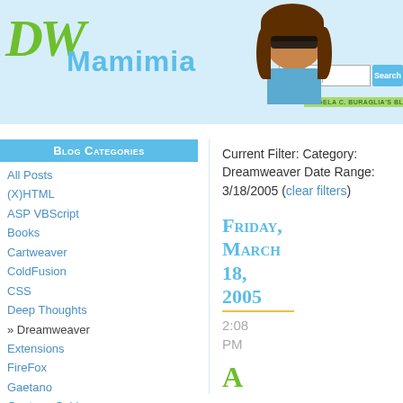DWmamimia.com - Angela C. Buraglia's Blog
Blog Categories
All Posts
(X)HTML
ASP VBScript
Books
Cartweaver
ColdFusion
CSS
Deep Thoughts
» Dreamweaver
Extensions
FireFox
Gaetano
Gaetano Said
Health
lynda.com
MacBook Pro
MAX 2003-2006
Newsgroup
Quotes
Rambling
Current Filter: Category: Dreamweaver Date Range: 3/18/2005 (clear filters)
Friday, March 18, 2005
2:08 PM
A